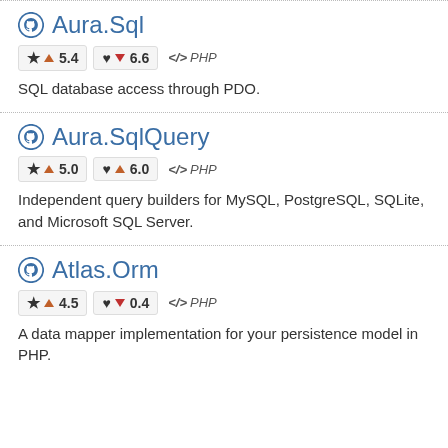Aura.Sql
★ ▲5.4   ♥ ▼6.6   </> PHP
SQL database access through PDO.
Aura.SqlQuery
★ ▲5.0   ♥ ▲6.0   </> PHP
Independent query builders for MySQL, PostgreSQL, SQLite, and Microsoft SQL Server.
Atlas.Orm
★ ▲4.5   ♥ ▼0.4   </> PHP
A data mapper implementation for your persistence model in PHP.